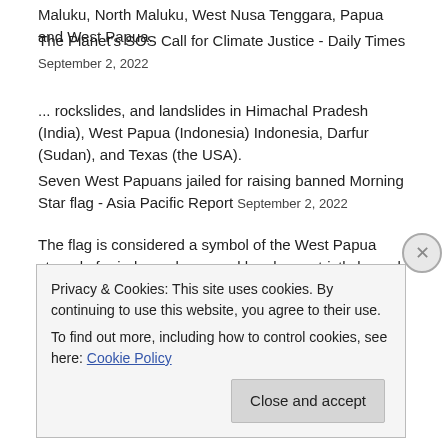Maluku, North Maluku, West Nusa Tenggara, Papua and West Papua.
The Planet's SOS Call for Climate Justice - Daily Times September 2, 2022
... rockslides, and landslides in Himachal Pradesh (India), West Papua (Indonesia) Indonesia, Darfur (Sudan), and Texas (the USA).
Seven West Papuans jailed for raising banned Morning Star flag - Asia Pacific Report September 2, 2022
The flag is considered a symbol of the West Papua struggle for independence and has been strictly barred by the Indonesian authorities.
Indonesia Human Rights Coalition in Geneva: Civil Liberties Still under Restraint September 2, 2022
Journalists' access to Papua and West Papua remains very limited.
Privacy & Cookies: This site uses cookies. By continuing to use this website, you agree to their use. To find out more, including how to control cookies, see here: Cookie Policy
Close and accept